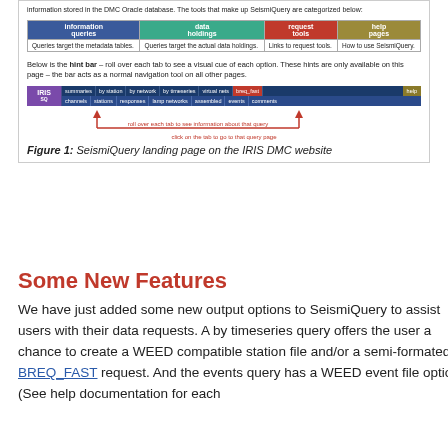information stored in the DMC Oracle database. The tools that make up SeismiQuery are categorized below:
[Figure (screenshot): Table showing four categories of SeismiQuery tools: information queries, data holdings, request tools, help pages with descriptions below each.]
Below is the hint bar – roll over each tab to see a visual cue of each option. These hints are only available on this page – the bar acts as a normal navigation tool on all other pages.
[Figure (screenshot): IRIS SeismiQuery navigation bar with tabs: summaries, by station, by network, by timeseries, virtual nets, breq_fast, help (top row); channels, stations, responses, lamp networks, assembled, events, comments (bottom row). Arrows and red text below show roll-over and click interactions.]
Figure 1: SeismiQuery landing page on the IRIS DMC website
Some New Features
We have just added some new output options to SeismiQuery to assist users with their data requests. A by timeseries query offers the user a chance to create a WEED compatible station file and/or a semi-formated BREQ_FAST request. And the events query has a WEED event file option. (See help documentation for each